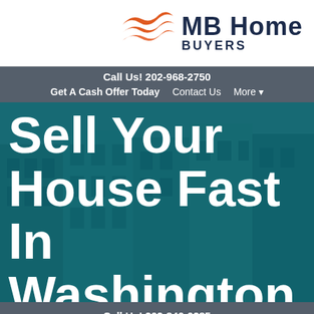[Figure (logo): MB Home Buyers logo with orange flame/wave icon and dark navy text]
Call Us! 202-968-2750
Get A Cash Offer Today   Contact Us   More ▾
Sell Your House Fast In Washington DC
[Figure (photo): Background photo of Washington DC brownstone/townhouse buildings with teal overlay]
Call Us! 202-846-0285